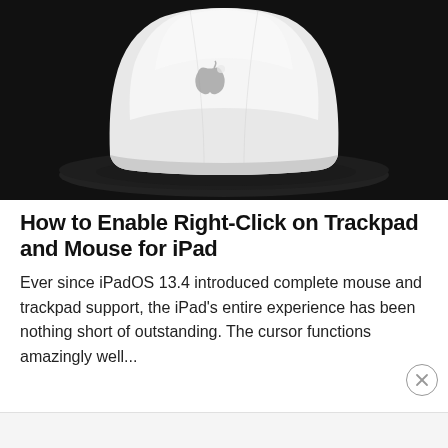[Figure (photo): Apple Magic Mouse (white) sitting on a dark circular stand/disk, on a black background. The mouse has the Apple logo visible on its top surface.]
How to Enable Right-Click on Trackpad and Mouse for iPad
Ever since iPadOS 13.4 introduced complete mouse and trackpad support, the iPad's entire experience has been nothing short of outstanding. The cursor functions amazingly well...